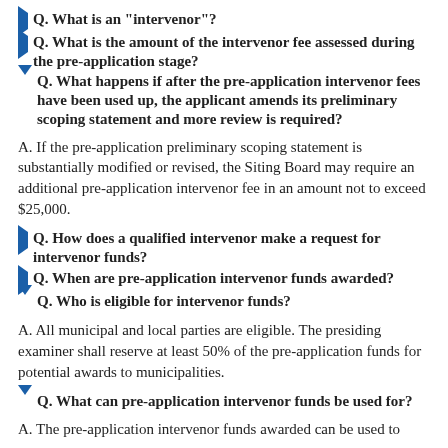Q. What is an "intervenor"?
Q. What is the amount of the intervenor fee assessed during the pre-application stage?
Q. What happens if after the pre-application intervenor fees have been used up, the applicant amends its preliminary scoping statement and more review is required?
A. If the pre-application preliminary scoping statement is substantially modified or revised, the Siting Board may require an additional pre-application intervenor fee in an amount not to exceed $25,000.
Q. How does a qualified intervenor make a request for intervenor funds?
Q. When are pre-application intervenor funds awarded?
Q. Who is eligible for intervenor funds?
A. All municipal and local parties are eligible. The presiding examiner shall reserve at least 50% of the pre-application funds for potential awards to municipalities.
Q. What can pre-application intervenor funds be used for?
A. The pre-application intervenor funds awarded can be used to